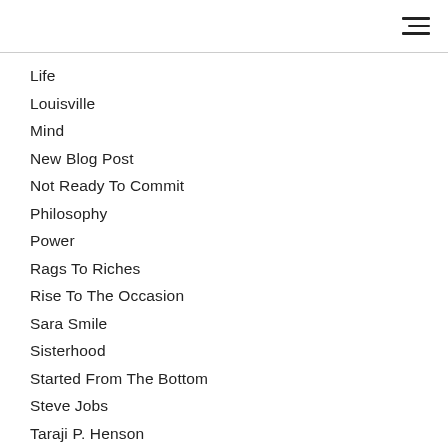[Figure (other): Hamburger menu icon (three horizontal lines) in top-right corner]
Life
Louisville
Mind
New Blog Post
Not Ready To Commit
Philosophy
Power
Rags To Riches
Rise To The Occasion
Sara Smile
Sisterhood
Started From The Bottom
Steve Jobs
Taraji P. Henson
The Perfect Girl
The Shade Room